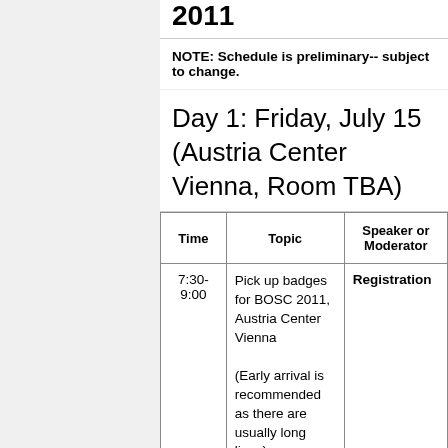2011
NOTE: Schedule is preliminary-- subject to change.
Day 1: Friday, July 15 (Austria Center Vienna, Room TBA)
| Time | Topic | Speaker or Moderator |
| --- | --- | --- |
| 7:30-9:00 | Pick up badges for BOSC 2011, Austria Center Vienna
(Early arrival is recommended as there are usually long lines) | Registration |